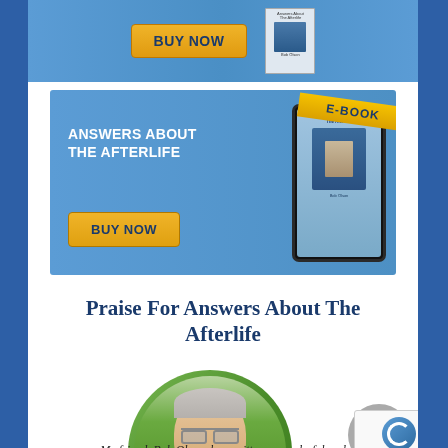[Figure (screenshot): Top blue banner with yellow 'BUY NOW' button and printed book cover image]
[Figure (screenshot): E-Book banner with 'ANSWERS ABOUT THE AFTERLIFE' title, yellow 'E-BOOK' ribbon, yellow 'BUY NOW' button, and tablet device showing book cover]
Praise For Answers About The Afterlife
[Figure (photo): Oval portrait photo of an older smiling man with gray hair and glasses, wearing a light yellow shirt, against a green background]
My friend, Bob Olson, has written a wonderful and